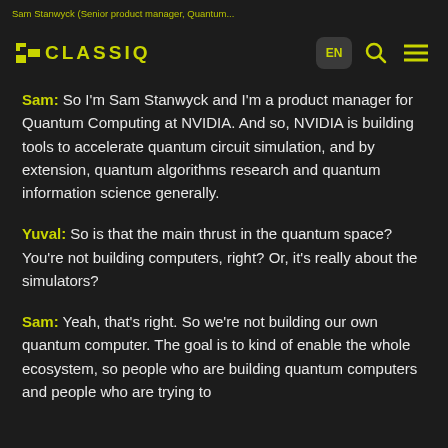Sam Stanwyck (Senior product manager, Quantum...
[Figure (logo): Classiq logo with yellow-green icon and text on dark background, with EN language button, search icon, and hamburger menu]
Sam: So I'm Sam Stanwyck and I'm a product manager for Quantum Computing at NVIDIA. And so, NVIDIA is building tools to accelerate quantum circuit simulation, and by extension, quantum algorithms research and quantum information science generally.
Yuval: So is that the main thrust in the quantum space? You're not building computers, right? Or, it's really about the simulators?
Sam: Yeah, that's right. So we're not building our own quantum computer. The goal is to kind of enable the whole ecosystem, so people who are building quantum computers and people who are trying to